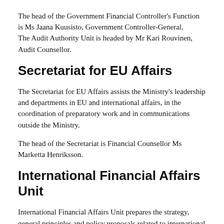The head of the Government Financial Controller's Function is Ms Jaana Kuusisto, Government Controller-General. The Audit Authority Unit is headed by Mr Kari Rouvinen, Audit Counsellor.
Secretariat for EU Affairs
The Secretariat for EU Affairs assists the Ministry's leadership and departments in EU and international affairs, in the coordination of preparatory work and in communications outside the Ministry.
The head of the Secretariat is Financial Counsellor Ms Marketta Henriksson.
International Financial Affairs Unit
International Financial Affairs Unit prepares the strategy, general principles and policy proposals related to international financial institutions and euro area stability as well as Nordic cooperation. Where needed, its staff members represent the Republic of Finland in various international financial institutions and organisations. The unit assists the Finance Minister in areas falling under its mandate...